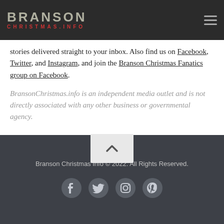BRANSON CHRISTMAS.INFO
stories delivered straight to your inbox. Also find us on Facebook, Twitter, and Instagram, and join the Branson Christmas Fanatics group on Facebook.
BransonChristmas.info is an independent media outlet and is not directly associated with any other business or governmental agency.
Branson Christmas Info © 2022. All Rights Reserved.